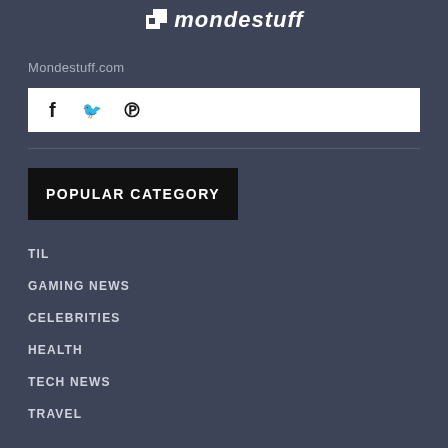mondestuff
Mondestuff.com
[Figure (infographic): Social media icons bar with Facebook, Twitter, and Pinterest icons on white background]
POPULAR CATEGORY
TIL
GAMING NEWS
CELEBRITIES
HEALTH
TECH NEWS
TRAVEL